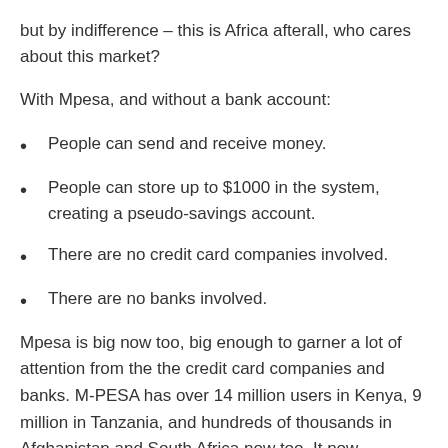but by indifference – this is Africa afterall, who cares about this market?
With Mpesa, and without a bank account:
People can send and receive money.
People can store up to $1000 in the system, creating a pseudo-savings account.
There are no credit card companies involved.
There are no banks involved.
Mpesa is big now too, big enough to garner a lot of attention from the the credit card companies and banks. M-PESA has over 14 million users in Kenya, 9 million in Tanzania, and hundreds of thousands in Afghanistan and South Africa now too. It now processes more transactions domestically in Kenya than Western Union